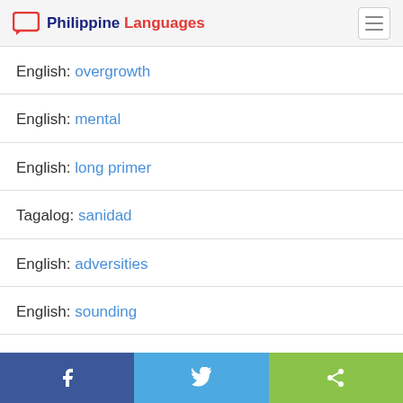Philippine Languages
English: overgrowth
English: mental
English: long primer
Tagalog: sanidad
English: adversities
English: sounding
English: apply